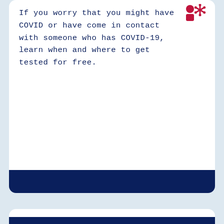If you worry that you might have COVID or have come in contact with someone who has COVID-19, learn when and where to get tested for free.
[Figure (illustration): Red COVID-19 related icons including a person figure and a snowflake/virus symbol in the top right corner]
County Resources
The pandemic has hit many of our communities hard. Learn how LA County can help with paying rent, food, unemployment and more.